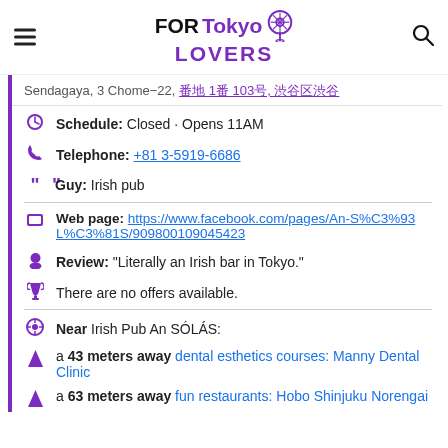FOR Tokyo LOVERS
Sendagaya, 3 Chome-22, [Japanese] 1番 103号, [Japanese]
Schedule: Closed · Opens 11AM
Telephone: +81 3-5919-6686
Guy: Irish pub
Web page: https://www.facebook.com/pages/An-S%C3%93L%C3%81S/909800109045423
Review: "Literally an Irish bar in Tokyo."
There are no offers available.
Near Irish Pub An SÓLÁS:
a 43 meters away dental esthetics courses: Manny Dental Clinic
a 63 meters away fun restaurants: Hobo Shinjuku Norengai